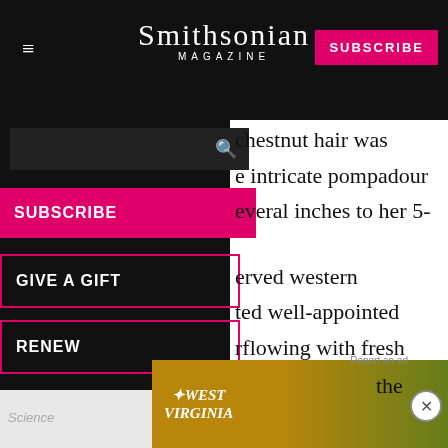Smithsonian MAGAZINE
[Figure (screenshot): Smithsonian Magazine website screenshot showing navigation menu overlay on left with black background, subscribe button in pink, search bar, SUBSCRIBE nav link, GIVE A GIFT nav link, RENEW nav link; article text visible on right side with partial paragraphs about chestnut hair, pompadour, served western, well-appointed, overflowing with fresh, constant swirl of social, paired with South; West Virginia tourism ad banner at bottom; Science label at lower left]
chestnut hair was intricate pompadour everal inches to her 5-
erved western ted well-appointed rflowing with fresh constant swirl of social paired with South
r people seeking